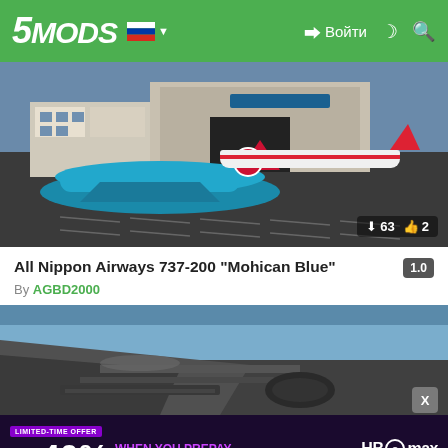5MODS — Войти
[Figure (screenshot): Airport scene with two airplanes parked on tarmac in front of a hangar building. A teal/blue Korean Air Lines styled jet is in the foreground, a white and red aircraft in the background. Shows 63 downloads and 2 likes.]
All Nippon Airways 737-200 "Mohican Blue"
By AGBD2000
[Figure (screenshot): Close-up view of a dark military-style aircraft wing/fuselage from a low angle against a blue sky.]
[Figure (infographic): HBO Max advertisement: LIMITED-TIME OFFER — SAVE OVER 40% WHEN YOU PREPAY FOR A YEAR. HBO max logo with SIGN UP NOW button. Fine print disclaimer text.]